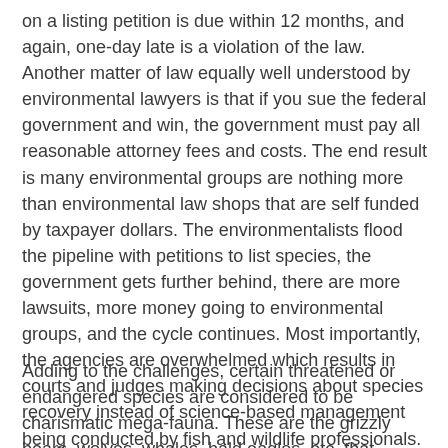on a listing petition is due within 12 months, and again, one-day late is a violation of the law. Another matter of law equally well understood by environmental lawyers is that if you sue the federal government and win, the government must pay all reasonable attorney fees and costs. The end result is many environmental groups are nothing more than environmental law shops that are self funded by taxpayer dollars. The environmentalists flood the pipeline with petitions to list species, the government gets further behind, there are more lawsuits, more money going to environmental groups, and the cycle continues. Most importantly, the agencies are overwhelmed which results in courts and judges making decisions about species recovery instead of science-based management being conducted by fish and wildlife professionals. Another outcome is limited federal resources, which could be used for species conservation and recovery, are wasted on litigation.
Adding to the challenges, certain threatened or endangered species are considered to be charismatic mega-fauna. These are the grizzly bears, wolves, whales, bald eagles, etc. that environmentalists exploit as pawns in their